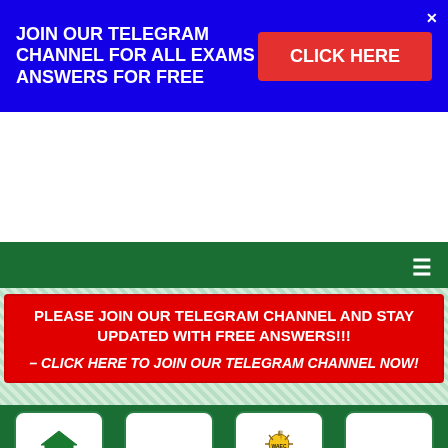JOIN OUR TELEGRAM CHANNEL FOR ALL EXAMS ANSWERS FOR FREE
CLICK HERE
PLEASE JOIN OUR TELEGRAM CHANNEL AND STAY UPDATED WITH FREE ANSWERS!!!
– CLICK HERE TO JOIN OUR TELEGRAM CHANNEL NOW!
[Figure (screenshot): Navigation icon cards for HOME, JAMB, WAEC, and NECO]
HOME
JAMB
WAEC
NECO